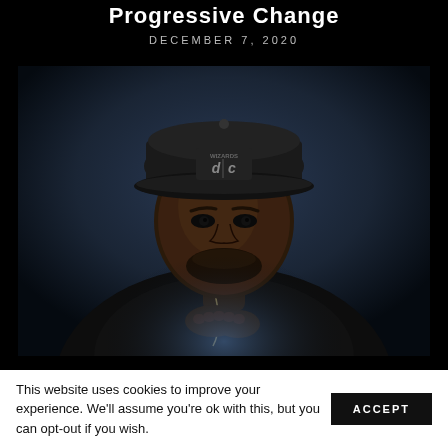Progressive Change
DECEMBER 7, 2020
[Figure (photo): Portrait of a Black man wearing a dark Washington Wizards DC snapback cap, resting his clasped hands under his chin, looking intensely at the camera against a dark blue-grey background.]
This website uses cookies to improve your experience. We'll assume you're ok with this, but you can opt-out if you wish. ACCEPT